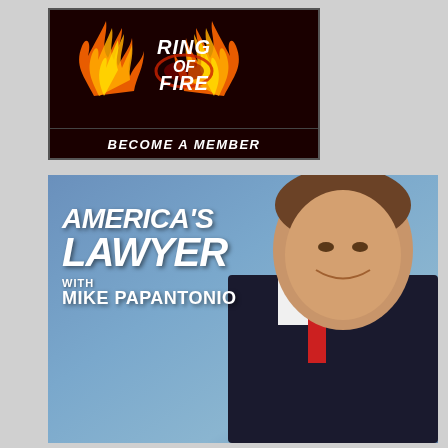[Figure (logo): Ring of Fire logo on dark red/black background with flames, text reads 'RING OF FIRE' with flames graphic and 'BECOME A MEMBER' banner at bottom]
[Figure (photo): America's Lawyer with Mike Papantonio promotional image. Blue background with man in suit smiling, bold white text reads 'AMERICA'S LAWYER with MIKE PAPANTONIO']